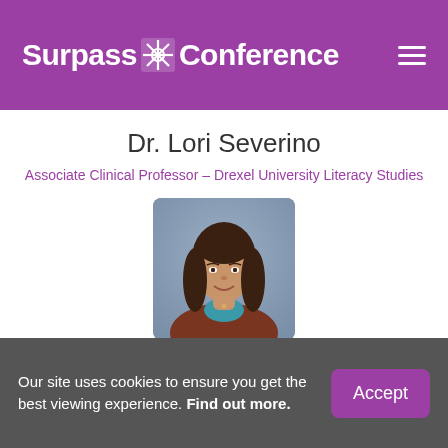Surpass Conference
Dr. Lori Severino
Associate Clinical Professor – Drexel University Literacy Studies
[Figure (photo): Professional headshot of Dr. Mary Jean Tecce DeCarlo, a woman with long dark brown hair, smiling, wearing a rust/brown cardigan over a blue top, against a soft blue-grey background.]
Dr. Mary Jean Tecce DeCarlo
Our site uses cookies to ensure you get the best viewing experience. Find out more.